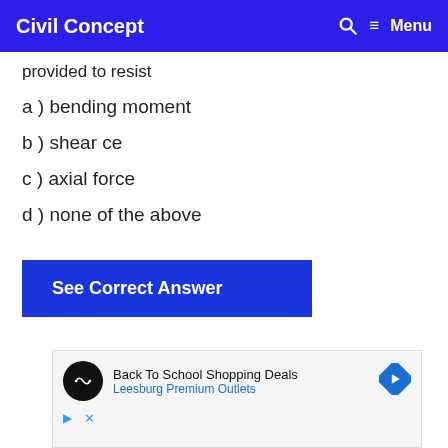Civil Concept  Menu
provided to resist
a ) bending moment
b ) shear ce
c ) axial force
d ) none of the above
See Correct Answer
[Figure (other): Advertisement banner: Back To School Shopping Deals - Leesburg Premium Outlets]
Back To School Shopping Deals
Leesburg Premium Outlets